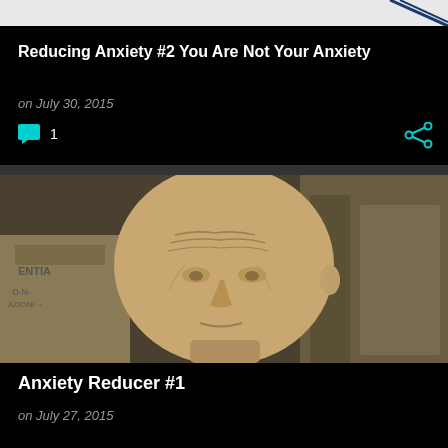[Figure (illustration): Partial view of a blog card header with diagonal lines on white strip at top, black background]
Reducing Anxiety #2 You Are Not Your Anxiety
on July 30, 2015
1
[Figure (photo): Close-up photograph of a marble or stone bust of an ancient Roman or Greek figure, showing aged/wrinkled face, with inscribed columns in the background]
Anxiety Reducer #1
on July 27, 2015